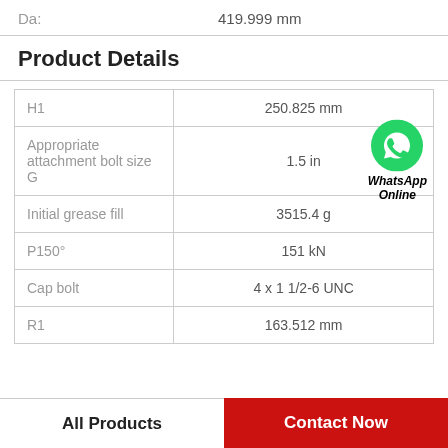| Property | Value |
| --- | --- |
| Da: | 419.999 mm |
| H1 | 250.825 mm |
| Appropriate attachment bolt size G | 1.5 in |
| Initial grease fill | 3515.4 g |
| P150° | 151 kN |
| Cap bolt | 4 x 1 1/2-6 UNC |
| R1 | 163.512 mm |
Product Details
WhatsApp Online